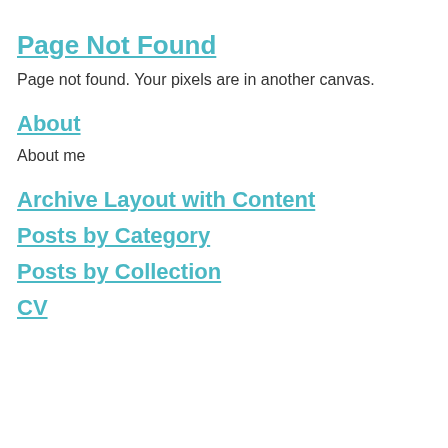Page Not Found
Page not found. Your pixels are in another canvas.
About
About me
Archive Layout with Content
Posts by Category
Posts by Collection
CV